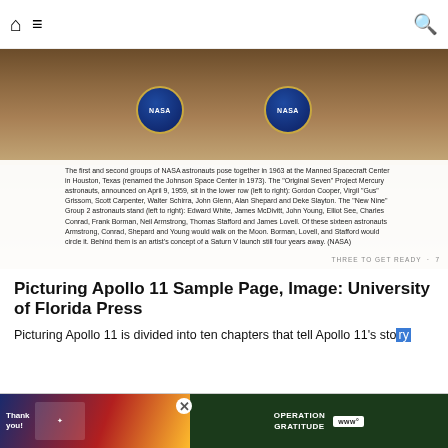Home | Menu | Search
[Figure (photo): The first and second groups of NASA astronauts pose together in 1963 at the Manned Spacecraft Center in Houston, Texas. Two NASA logos/badges are visible in the background.]
The first and second groups of NASA astronauts pose together in 1963 at the Manned Spacecraft Center in Houston, Texas (renamed the Johnson Space Center in 1973). The "Original Seven" Project Mercury astronauts, announced on April 9, 1959, sit in the lower row (left to right): Gordon Cooper, Virgil "Gus" Grissom, Scott Carpenter, Walter Schirra, John Glenn, Alan Shepard and Deke Slayton. The "New Nine" Group 2 astronauts stand (left to right): Edward White, James McDivitt, John Young, Elliot See, Charles Conrad, Frank Borman, Neil Armstrong, Thomas Stafford and James Lovell. Of these sixteen astronauts Armstrong, Conrad, Shepard and Young would walk on the Moon. Borman, Lovell, and Stafford would circle it. Behind them is an artist's concept of a Saturn V launch still four years away. (NASA)
THREE TO GET READY · 7
Picturing Apollo 11 Sample Page, Image: University of Florida Press
Picturing Apollo 11 is divided into ten chapters that tell Apollo 11's story